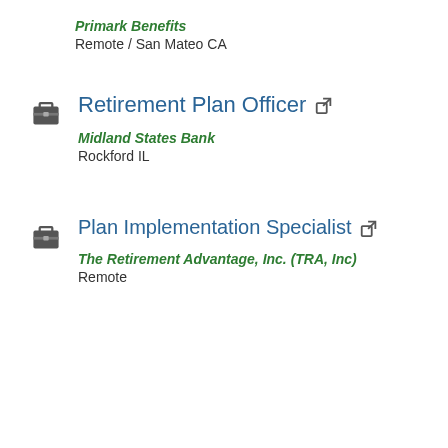Primark Benefits
Remote / San Mateo CA
Retirement Plan Officer
Midland States Bank
Rockford IL
Plan Implementation Specialist
The Retirement Advantage, Inc. (TRA, Inc)
Remote